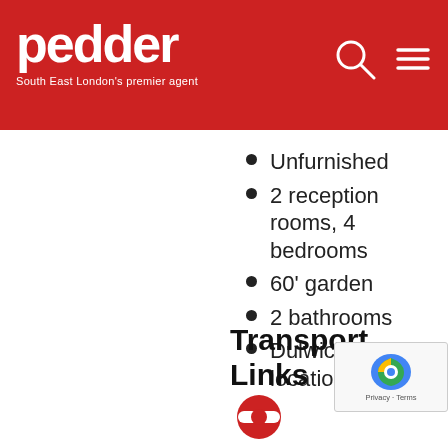pedder — South East London's premier agent
Unfurnished
2 reception rooms, 4 bedrooms
60' garden
2 bathrooms
Dulwich Village location
Transport Links